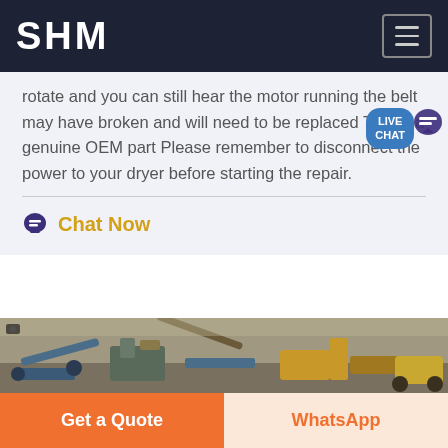SHM
rotate and you can still hear the motor running the belt may have broken and will need to be replaced This is a genuine OEM part Please remember to disconnect the power to your dryer before starting the repair.
Chat Now
[Figure (photo): Industrial mining/crushing equipment and machinery on a construction or quarry site]
Get a Quote
WhatsApp